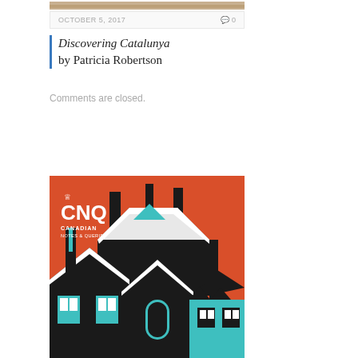[Figure (photo): Top strip of a photograph, partially visible]
OCTOBER 5, 2017   💬 0
Discovering Catalunya by Patricia Robertson
Comments are closed.
[Figure (illustration): CNQ Canadian Notes & Queries magazine cover with graphic illustration of rooftops and chimneys in black, teal and orange colors]